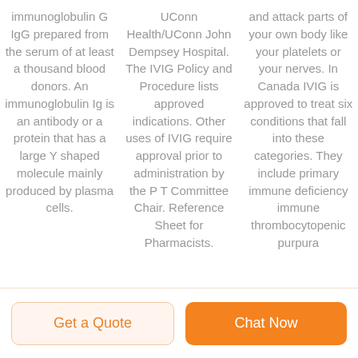immunoglobulin G IgG prepared from the serum of at least a thousand blood donors. An immunoglobulin Ig is an antibody or a protein that has a large Y shaped molecule mainly produced by plasma cells.
UConn Health/UConn John Dempsey Hospital. The IVIG Policy and Procedure lists approved indications. Other uses of IVIG require approval prior to administration by the P T Committee Chair. Reference Sheet for Pharmacists.
and attack parts of your own body like your platelets or your nerves. In Canada IVIG is approved to treat six conditions that fall into these categories. They include primary immune deficiency immune thrombocytopenic purpura